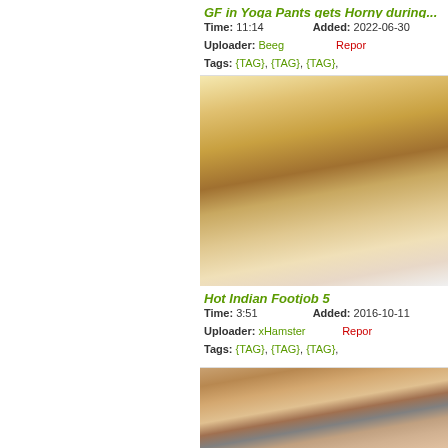GF in Yoga Pants gets Horny during...
Time: 11:14   Added: 2022-06-30
Uploader: Beeg   Report
Tags: {TAG}, {TAG}, {TAG},
[Figure (photo): Close-up photo of feet with red nail polish and yellow fabric]
Hot Indian Footjob 5
Time: 3:51   Added: 2016-10-11
Uploader: xHamster   Report
Tags: {TAG}, {TAG}, {TAG},
[Figure (photo): Group photo with young man and older people on a couch]